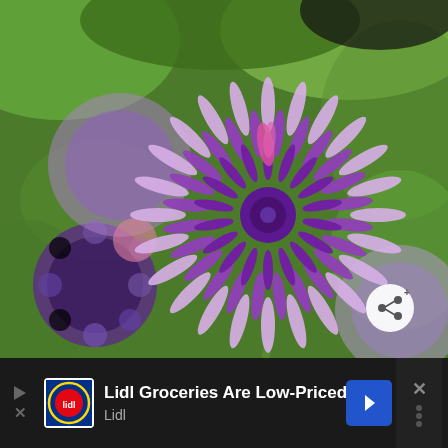[Figure (photo): Close-up photo of purple chive flowers (Allium schoenoprasum) in bloom against a green blurred background. Multiple spherical purple flower heads visible, with the central one in sharp focus showing detailed spiky petals in shades of violet and magenta.]
Lidl Groceries Are Low-Priced
Lidl